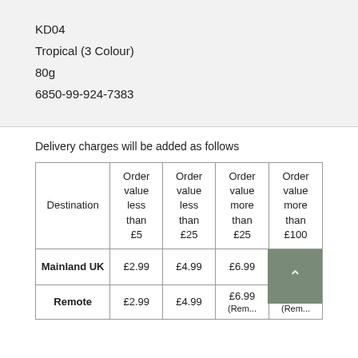KD04
Tropical (3 Colour)
80g
6850-99-924-7383
Delivery charges will be added as follows
| Destination | Order value less than £5 | Order value less than £25 | Order value more than £25 | Order value more than £100 |
| --- | --- | --- | --- | --- |
| Mainland UK | £2.99 | £4.99 | £6.99 | £7.49 |
| Remote | £2.99 | £4.99 | £6.99 (Rem... | £7.49 (Rem... |